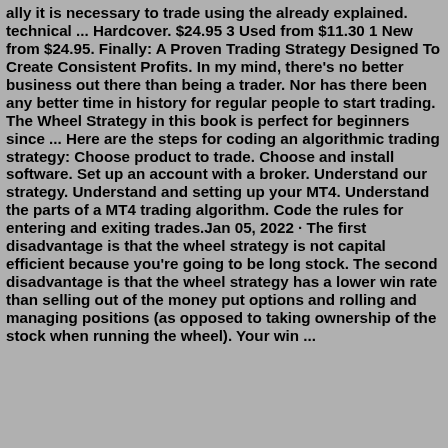ally it is necessary to trade using the already explained. technical ... Hardcover. $24.95 3 Used from $11.30 1 New from $24.95. Finally: A Proven Trading Strategy Designed To Create Consistent Profits. In my mind, there's no better business out there than being a trader. Nor has there been any better time in history for regular people to start trading. The Wheel Strategy in this book is perfect for beginners since ... Here are the steps for coding an algorithmic trading strategy: Choose product to trade. Choose and install software. Set up an account with a broker. Understand our strategy. Understand and setting up your MT4. Understand the parts of a MT4 trading algorithm. Code the rules for entering and exiting trades.Jan 05, 2022 · The first disadvantage is that the wheel strategy is not capital efficient because you're going to be long stock. The second disadvantage is that the wheel strategy has a lower win rate than selling out of the money put options and rolling and managing positions (as opposed to taking ownership of the stock when running the wheel). Your win ...